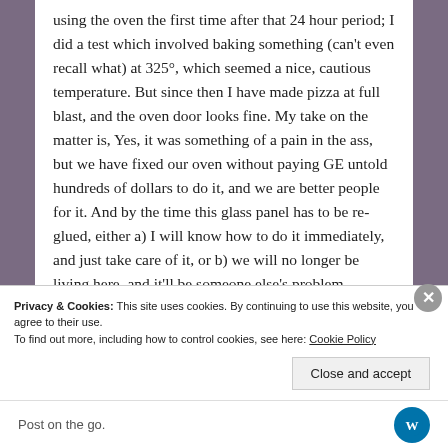using the oven the first time after that 24 hour period; I did a test which involved baking something (can't even recall what) at 325°, which seemed a nice, cautious temperature. But since then I have made pizza at full blast, and the oven door looks fine. My take on the matter is, Yes, it was something of a pain in the ass, but we have fixed our oven without paying GE untold hundreds of dollars to do it, and we are better people for it. And by the time this glass panel has to be re-glued, either a) I will know how to do it immediately, and just take care of it, or b) we will no longer be living here, and it'll be someone else's problem.

On to brighter subjects, namely, the awesomely kind gift a woman I barely know gave me.
Privacy & Cookies: This site uses cookies. By continuing to use this website, you agree to their use.
To find out more, including how to control cookies, see here: Cookie Policy
Close and accept
Post on the go.